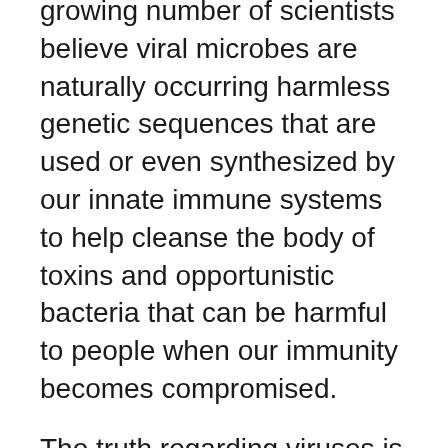growing number of scientists believe viral microbes are naturally occurring harmless genetic sequences that are used or even synthesized by our innate immune systems to help cleanse the body of toxins and opportunistic bacteria that can be harmful to people when our immunity becomes compromised.
The truth regarding viruses is still up in the air. Both viewpoints are theories that have yet to be adequately proven. What has been proven to be true without any uncertainty is that trillions of microbes are everywhere and at all times. You can’t escape them, so don’t be fooled into thinking you can.
The good news that very few people seem to understand is that microbes don’t make you sick. If they did, we’d be sick all the time because there’s never a time when